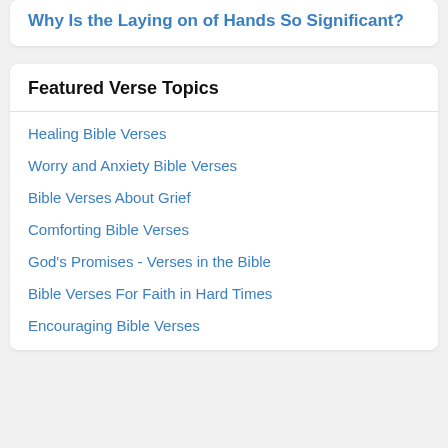Why Is the Laying on of Hands So Significant?
Featured Verse Topics
Healing Bible Verses
Worry and Anxiety Bible Verses
Bible Verses About Grief
Comforting Bible Verses
God's Promises - Verses in the Bible
Bible Verses For Faith in Hard Times
Encouraging Bible Verses